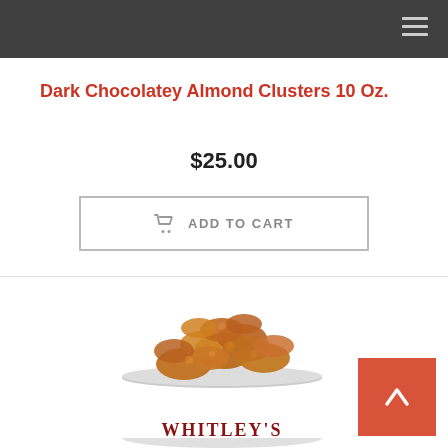Navigation bar with hamburger menu
Dark Chocolatey Almond Clusters 10 Oz.
$25.00
ADD TO CART
[Figure (photo): A tin can filled with dark chocolatey almond clusters, branded WHITLEY'S, viewed from above at an angle showing the product piled high in the open can.]